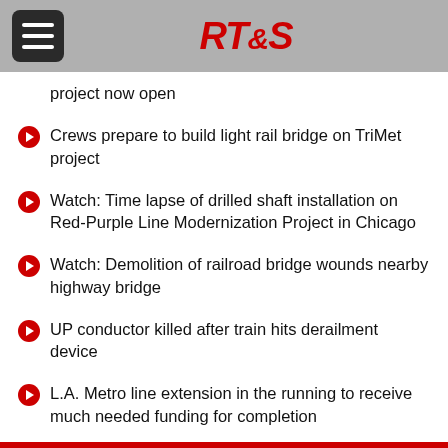RT&S
project now open
Crews prepare to build light rail bridge on TriMet project
Watch: Time lapse of drilled shaft installation on Red-Purple Line Modernization Project in Chicago
Watch: Demolition of railroad bridge wounds nearby highway bridge
UP conductor killed after train hits derailment device
L.A. Metro line extension in the running to receive much needed funding for completion